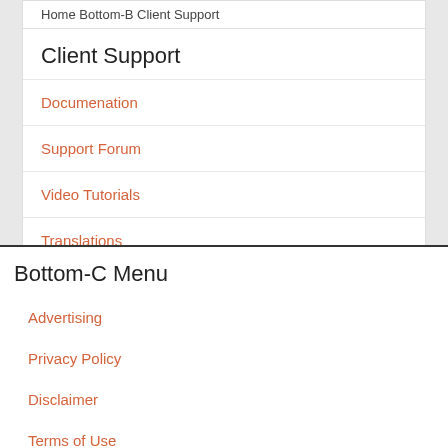Home Bottom-B Client Support
Client Support
Documenation
Support Forum
Video Tutorials
Translations
FAQ
Bottom-C Menu
Advertising
Privacy Policy
Disclaimer
Terms of Use
Sitemap